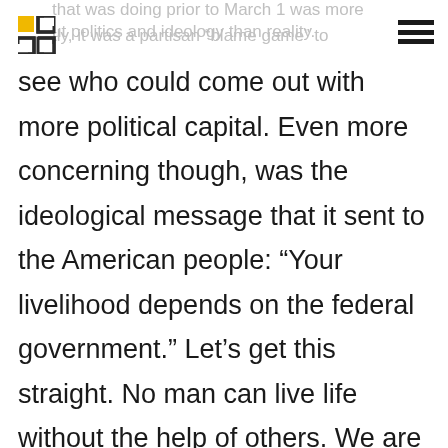that was doing prior to March 1 was more about politics and ideology than reality. Partly, it was a partisan “blame game” to
see who could come out with more political capital. Even more concerning though, was the ideological message that it sent to the American people: “Your livelihood depends on the federal government.” Let’s get this straight. No man can live life without the help of others. We are all dependent on God, family and communities. But the government should not be included on that list. Government